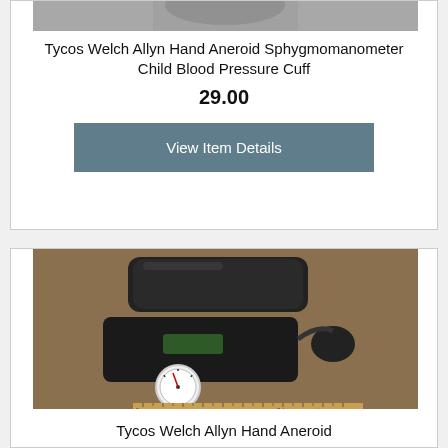[Figure (photo): Partial view of a medical device (top of previous listing), cropped at top]
Tycos Welch Allyn Hand Aneroid Sphygmomanometer Child Blood Pressure Cuff
29.00
View Item Details
[Figure (photo): Photo of a Tycos Welch Allyn Hand Aneroid sphygmomanometer with black case, blood pressure cuff, inflation bulb, and gauge with ruler for scale]
Tycos Welch Allyn Hand Aneroid